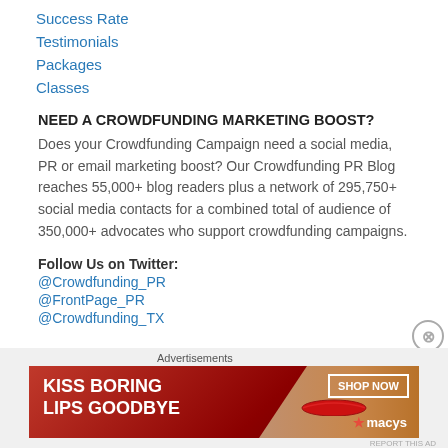Success Rate
Testimonials
Packages
Classes
NEED A CROWDFUNDING MARKETING BOOST?
Does your Crowdfunding Campaign need a social media, PR or email marketing boost? Our Crowdfunding PR Blog reaches 55,000+ blog readers plus a network of 295,750+ social media contacts for a combined total of audience of 350,000+ advocates who support crowdfunding campaigns.
Follow Us on Twitter:
@Crowdfunding_PR
@FrontPage_PR
@Crowdfunding_TX
[Figure (infographic): Macy's advertisement banner: KISS BORING LIPS GOODBYE with SHOP NOW button and Macy's logo on dark red background with woman's face]